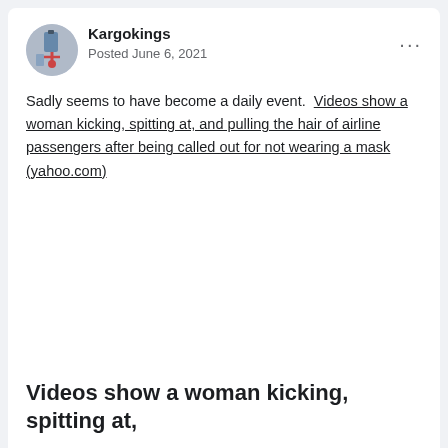Kargokings
Posted June 6, 2021
Sadly seems to have become a daily event.  Videos show a woman kicking, spitting at, and pulling the hair of airline passengers after being called out for not wearing a mask (yahoo.com)
Videos show a woman kicking, spitting at,